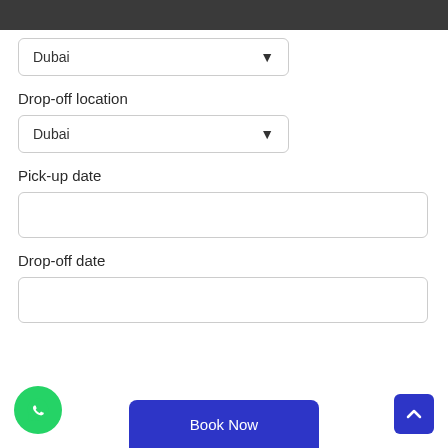[Figure (screenshot): Mobile app form for car rental booking with dropdown fields for Dubai location and date input fields for pick-up and drop-off dates, plus navigation buttons at the bottom.]
Dubai
Drop-off location
Dubai
Pick-up date
Drop-off date
Book Now